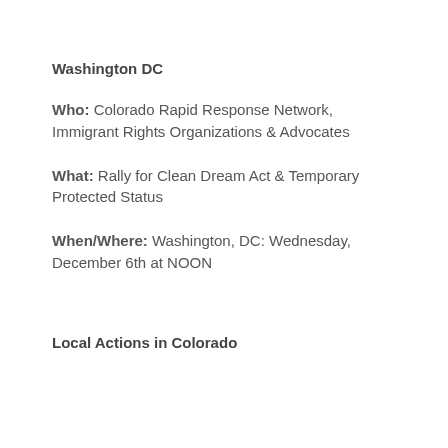Washington DC
Who: Colorado Rapid Response Network, Immigrant Rights Organizations & Advocates
What: Rally for Clean Dream Act & Temporary Protected Status
When/Where: Washington, DC: Wednesday, December 6th at NOON
Local Actions in Colorado